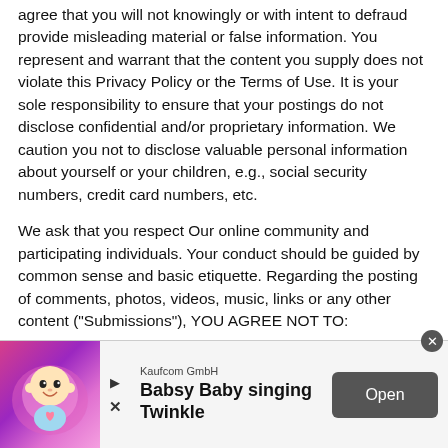agree that you will not knowingly or with intent to defraud provide misleading material or false information. You represent and warrant that the content you supply does not violate this Privacy Policy or the Terms of Use. It is your sole responsibility to ensure that your postings do not disclose confidential and/or proprietary information. We caution you not to disclose valuable personal information about yourself or your children, e.g., social security numbers, credit card numbers, etc.
We ask that you respect Our online community and participating individuals. Your conduct should be guided by common sense and basic etiquette. Regarding the posting of comments, photos, videos, music, links or any other content ("Submissions"), YOU AGREE NOT TO:
o Use the Website in a manner that violates any
[Figure (infographic): Advertisement banner for Kaufcom GmbH app 'Babsy Baby singing Twinkle' with colorful baby cartoon image on left, company name and app title in center, and 'Open' button on right. A close (x) button appears at top-right of banner.]